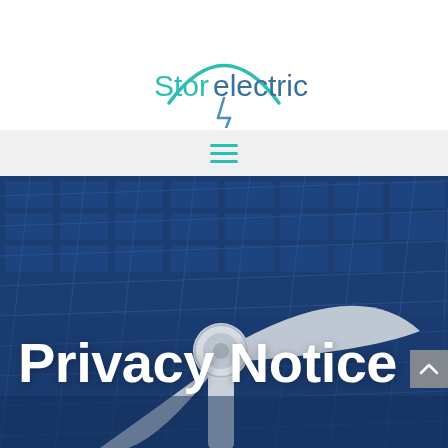[Figure (logo): Storelectric company logo: teal arc above, lightning bolt below, stylized text 'Storelectric' in teal/blue]
[Figure (screenshot): Navigation bar with teal hamburger menu icon on light gray background]
[Figure (photo): Hero background image showing blue solar panels and a wind turbine blade/hub in the foreground]
Privacy Notice